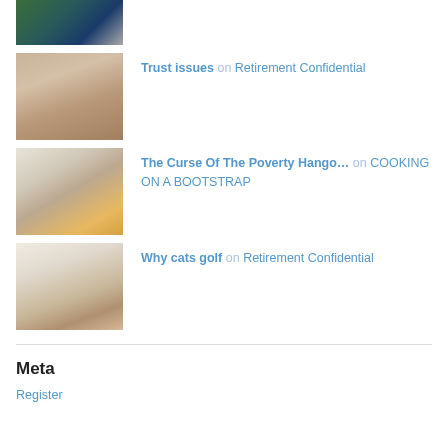[Figure (photo): Thumbnail of a toy truck or vehicle, partial view at top of page]
Trust issues on Retirement Confidential
[Figure (photo): Thumbnail of biscuits or bread rolls in a plastic bag]
The Curse Of The Poverty Hango… on COOKING ON A BOOTSTRAP
[Figure (photo): Thumbnail of documents or papers with a label sticker]
Why cats golf on Retirement Confidential
[Figure (photo): Thumbnail of a book or notepad]
Meta
Register